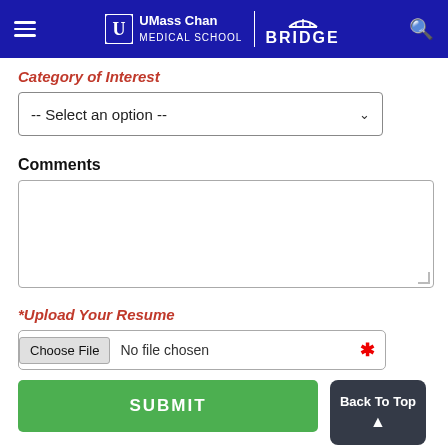UMass Chan Medical School | BRIDGE
Category of Interest
-- Select an option --
Comments
*Upload Your Resume
Choose File  No file chosen
SUBMIT
Back To Top